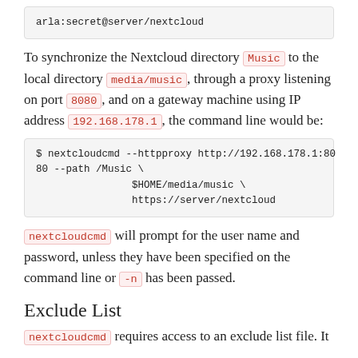arla:secret@server/nextcloud
To synchronize the Nextcloud directory Music to the local directory media/music, through a proxy listening on port 8080, and on a gateway machine using IP address 192.168.178.1, the command line would be:
$ nextcloudcmd --httpproxy http://192.168.178.1:8080 --path /Music \
                    $HOME/media/music \
                    https://server/nextcloud
nextcloudcmd will prompt for the user name and password, unless they have been specified on the command line or -n has been passed.
Exclude List
nextcloudcmd requires access to an exclude list file. It